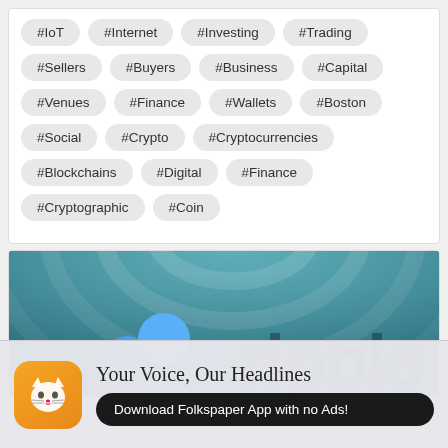#IoT
#Internet
#Investing
#Trading
#Sellers
#Buyers
#Business
#Capital
#Venues
#Finance
#Wallets
#Boston
#Social
#Crypto
#Cryptocurrencies
#Blockchains
#Digital
#Finance
#Cryptographic
#Coin
[Figure (photo): Ripple cryptocurrency logo on a teal/dark water ripple background]
Your Voice, Our Headlines
Download Folkspaper App with no Ads!